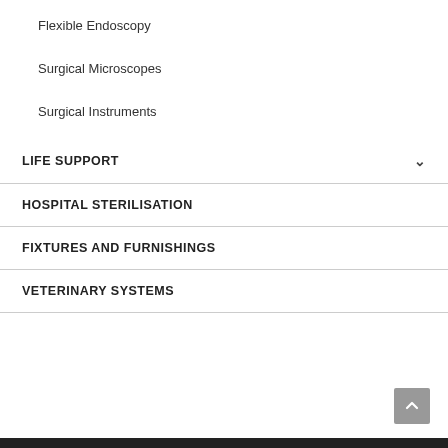Flexible Endoscopy
Surgical Microscopes
Surgical Instruments
LIFE SUPPORT
HOSPITAL STERILISATION
FIXTURES AND FURNISHINGS
VETERINARY SYSTEMS